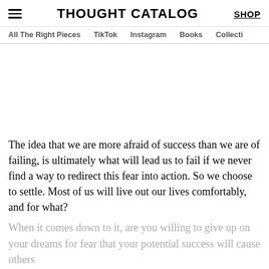THOUGHT CATALOG | SHOP | All The Right Pieces | TikTok | Instagram | Books | Collecti
The idea that we are more afraid of success than we are of failing, is ultimately what will lead us to fail if we never find a way to redirect this fear into action. So we choose to settle. Most of us will live out our lives comfortably, and for what?
When it comes down to it, are you willing to give up on your dreams for fear that your potential success will cause others to feeling wrong about their own situation?